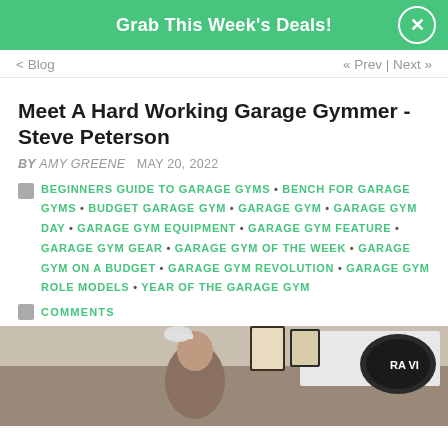Grab This Week's Deals!
< Blog   « Prev | Next »
Meet A Hard Working Garage Gymmer - Steve Peterson
BY AMY GREENE   MAY 20, 2022
BEGINNERS GUIDE TO GARAGE GYMS • BENCH FOR GARAGE GYMS • BUDGET GARAGE GYM • GARAGE GYM • GARAGE GYM DAY • GARAGE GYM EQUIPMENT • GARAGE GYM FEATURE • GARAGE GYM GEAR • GARAGE GYM OF THE WEEK • GARAGE GYM ON A BUDGET • GARAGE GYM REVOLUTION • GARAGE GYM ROLE MODELS • YEAR OF THE GARAGE GYM
COMMENTS
[Figure (photo): Photo of a man (Steve Peterson) standing in a garage gym with a white banner/flag visible in the background]